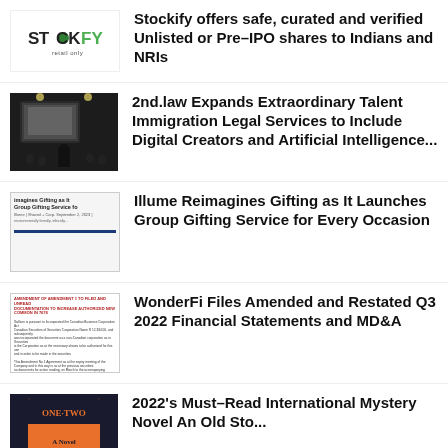[Figure (logo): Stockify logo]
Stockify offers safe, curated and verified Unlisted or Pre–IPO shares to Indians and NRIs
[Figure (photo): Dark room with people and a presentation screen]
2nd.law Expands Extraordinary Talent Immigration Legal Services to Include Digital Creators and Artificial Intelligence...
[Figure (screenshot): Document page showing Illume Reimagines Gifting as It Group Gifting Service for...]
Illume Reimagines Gifting as It Launches Group Gifting Service for Every Occasion
[Figure (screenshot): WonderFi financial document with red header text]
WonderFi Files Amended and Restated Q3 2022 Financial Statements and MD&A
[Figure (photo): Book cover with orange and dark design, One Two]
2022's Must–Read International Mystery Novel An Old Story...